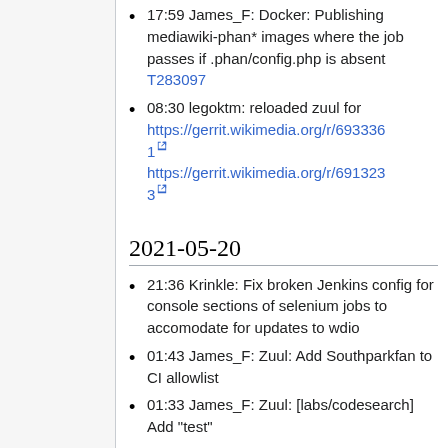17:59 James_F: Docker: Publishing mediawiki-phan* images where the job passes if .phan/config.php is absent T283097
08:30 legoktm: reloaded zuul for https://gerrit.wikimedia.org/r/693361 https://gerrit.wikimedia.org/r/691323
2021-05-20
21:36 Krinkle: Fix broken Jenkins config for console sections of selenium jobs to accomodate for updates to wdio
01:43 James_F: Zuul: Add Southparkfan to CI allowlist
01:33 James_F: Zuul: [labs/codesearch] Add "test"